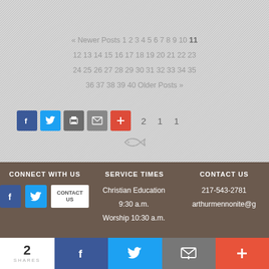« Newer Posts 1 2 3 4 5 6 7 8 9 10 11 12 13 14 15 16 17 18 19 20 21 22 23 24 25 26 27 28 29 30 31 32 33 34 35 36 37 38 39 40 Older Posts »
[Figure (other): Social share buttons: Facebook, Twitter, Print, Email, Plus icons with share counts 2, 1, 1]
[Figure (other): Fish/ichthys symbol icon]
CONNECT WITH US
[Figure (other): Facebook icon, Twitter icon, and Contact Us button]
SERVICE TIMES
Christian Education 9:30 a.m. Worship 10:30 a.m.
CONTACT US
217-543-2781 arthurmennonite@g
[Figure (other): Bottom share bar with 2 SHARES count, Facebook, Twitter, Email, and Plus buttons]